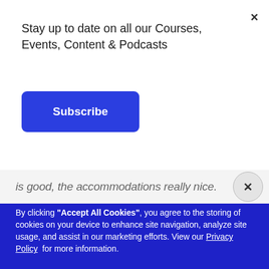Stay up to date on all our Courses, Events, Content & Podcasts
Subscribe
is good, the accommodations really nice.
By clicking "Accept All Cookies", you agree to the storing of cookies on your device to enhance site navigation, analyze site usage, and assist in our marketing efforts. View our Privacy Policy  for more information.
Accept
Deny
Preferences